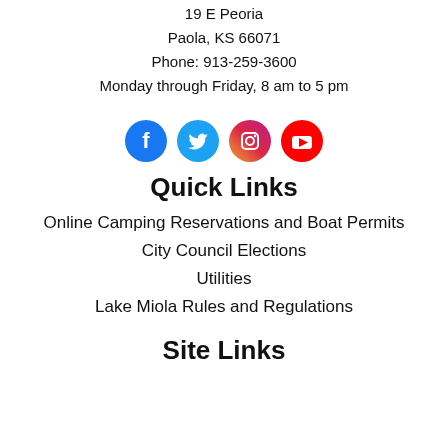19 E Peoria
Paola, KS 66071
Phone: 913-259-3600
Monday through Friday, 8 am to 5 pm
[Figure (illustration): Row of four social media icons: Facebook (blue circle with f), Twitter (light blue circle with bird), Instagram (purple/pink circle with camera), YouTube (red circle with play button)]
Quick Links
Online Camping Reservations and Boat Permits
City Council Elections
Utilities
Lake Miola Rules and Regulations
Site Links